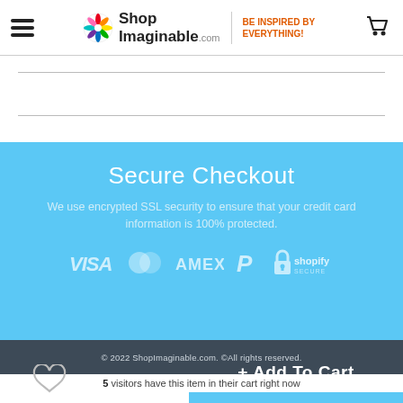ShopImaginable.com — BE INSPIRED BY EVERYTHING!
[Figure (other): Horizontal divider lines in white area below header]
Secure Checkout
We use encrypted SSL security to ensure that your credit card information is 100% protected.
[Figure (logo): Payment method logos: VISA, Mastercard, AMEX, PayPal, Shopify Secure]
© 2022 ShopImaginable.com. ©All rights reserved.
5 visitors have this item in their cart right now
+ Add To Cart